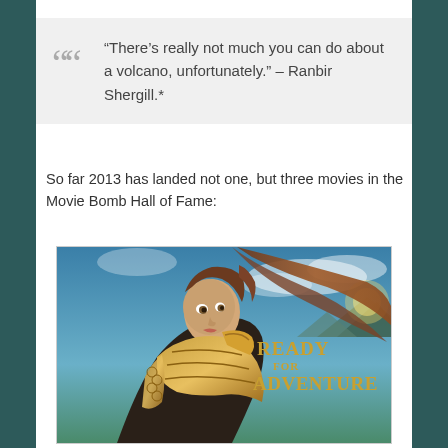“There’s really not much you can do about a volcano, unfortunately.” – Ranbir Shergill.*
So far 2013 has landed not one, but three movies in the Movie Bomb Hall of Fame:
[Figure (illustration): Movie poster showing a woman in golden armor with flowing hair against a dramatic sky and mountains, with text 'READY FOR ADVENTURE']